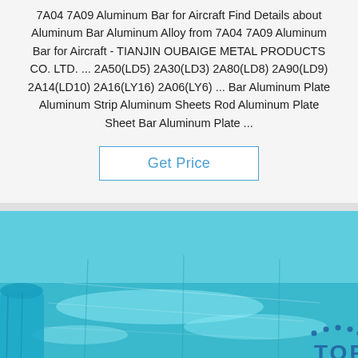7A04 7A09 Aluminum Bar for Aircraft Find Details about Aluminum Bar Aluminum Alloy from 7A04 7A09 Aluminum Bar for Aircraft - TIANJIN OUBAIGE METAL PRODUCTS CO. LTD. ... 2A50(LD5) 2A30(LD3) 2A80(LD8) 2A90(LD9) 2A14(LD10) 2A16(LY16) 2A06(LY6) ... Bar Aluminum Plate Aluminum Strip Aluminum Sheets Rod Aluminum Plate Sheet Bar Aluminum Plate ...
[Figure (other): Button labeled 'Get Price' with blue border and blue text on white background]
[Figure (photo): Photo of blue plastic-wrapped aluminum sheets/plates stacked on a surface, with a 'TOP' logo watermark in the bottom right corner.]